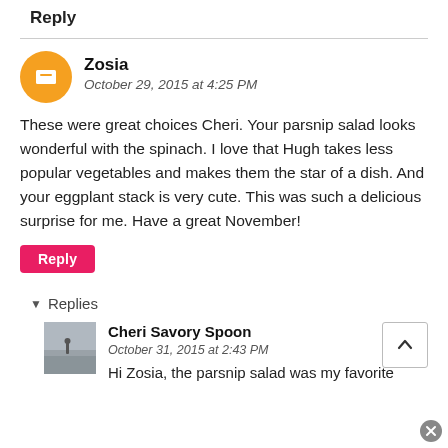Reply
Zosia
October 29, 2015 at 4:25 PM
These were great choices Cheri. Your parsnip salad looks wonderful with the spinach. I love that Hugh takes less popular vegetables and makes them the star of a dish. And your eggplant stack is very cute. This was such a delicious surprise for me. Have a great November!
Reply
Replies
Cheri Savory Spoon
October 31, 2015 at 2:43 PM
Hi Zosia, the parsnip salad was my favorite